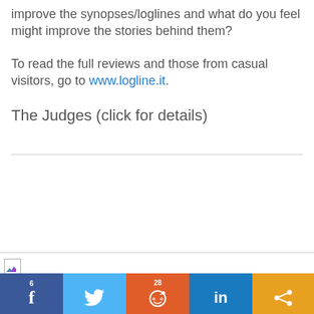improve the synopses/loglines and what do you feel might improve the stories behind them?
To read the full reviews and those from casual visitors, go to www.logline.it.
The Judges (click for details)
[Figure (photo): Broken/missing image placeholder with small landscape thumbnail icon]
Social sharing bar: Facebook (6), Twitter, Reddit (28), LinkedIn, Share